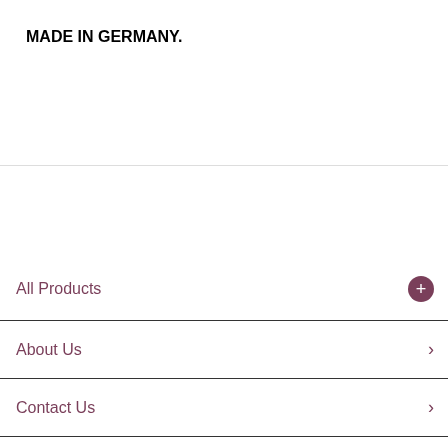MADE IN GERMANY.
All Products
About Us
Contact Us
Account
Register